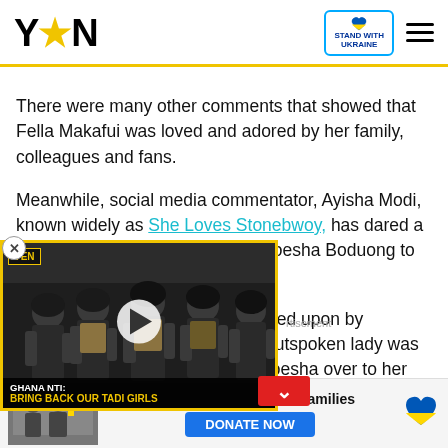YEN — Stand with Ukraine
There were many other comments that showed that Fella Makafui was loved and adored by her family, colleagues and fans.
Meanwhile, social media commentator, Ayisha Modi, known widely as She Loves Stonebwoy, has dared a pastor who reportedly assisted Moesha Boduong to repent.
While speaking in an audio chanced upon by YEN.com.gh on Instagram, the outspoken lady was heard calling out the [pastor and handed] Moesha over to her family.
[Figure (screenshot): Embedded video player showing soldiers in tactical gear, with YEN logo, play button, and caption 'GHANA NTI: BRING BACK OUR TADI GIRLS']
[Figure (infographic): Ad banner: Help Protect Ukrainian Families — DONATE NOW button with Ukraine heart emoji]